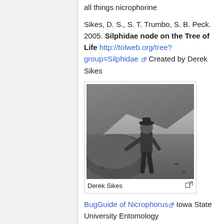all things nicrophorine
Sikes, D. S., S. T. Trumbo, S. B. Peck. 2005. Silphidae node on the Tree of Life http://tolweb.org/tree?group=Silphidae Created by Derek Sikes
[Figure (photo): Black and white photograph of Derek Sikes standing next to a large rock in an arid landscape]
Derek Sikes
BugGuide of Nicrophorus Iowa State University Entomology
Hobeck W.W., Snethon, D.C., Brust...